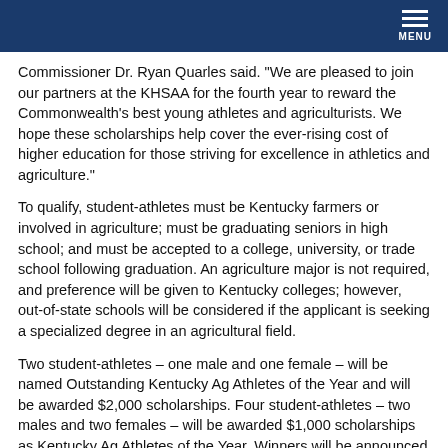MENU
Commissioner Dr. Ryan Quarles said. "We are pleased to join our partners at the KHSAA for the fourth year to reward the Commonwealth's best young athletes and agriculturists. We hope these scholarships help cover the ever-rising cost of higher education for those striving for excellence in athletics and agriculture."
To qualify, student-athletes must be Kentucky farmers or involved in agriculture; must be graduating seniors in high school; and must be accepted to a college, university, or trade school following graduation. An agriculture major is not required, and preference will be given to Kentucky colleges; however, out-of-state schools will be considered if the applicant is seeking a specialized degree in an agricultural field.
Two student-athletes – one male and one female – will be named Outstanding Kentucky Ag Athletes of the Year and will be awarded $2,000 scholarships. Four student-athletes – two males and two females – will be awarded $1,000 scholarships as Kentucky Ag Athletes of the Year. Winners will be announced at the 2022 Whitaker Bank/KHSAA Boys' Sweet Sixteen® basketball tournament in March at Rupp Arena in Lexington.
The scholarships are payable to an institution of higher learning. Funding for the scholarships comes from the KDA's "Ag Tag"